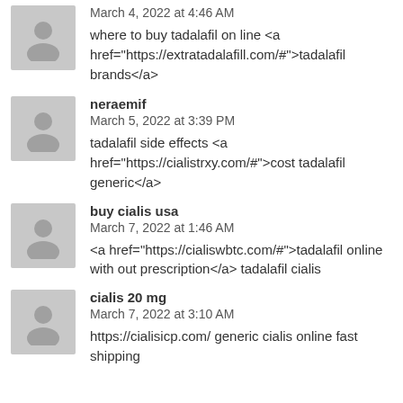March 4, 2022 at 4:46 AM
where to buy tadalafil on line <a href="https://extratadalafill.com/#">tadalafil brands</a>
neraemif
March 5, 2022 at 3:39 PM
tadalafil side effects <a href="https://cialistrxy.com/#">cost tadalafil generic</a>
buy cialis usa
March 7, 2022 at 1:46 AM
<a href="https://cialiswbtc.com/#">tadalafil online with out prescription</a> tadalafil cialis
cialis 20 mg
March 7, 2022 at 3:10 AM
https://cialisicp.com/ generic cialis online fast shipping